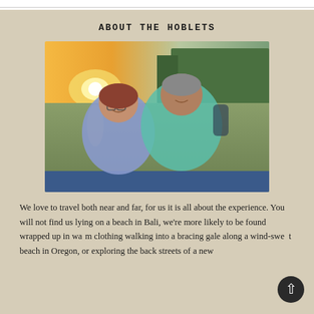ABOUT THE HOBLETS
[Figure (photo): A couple smiling on a boat on a river at sunset, with lush green trees in the background. The woman wears glasses and a purple shirt; the man wears a teal checkered shirt.]
We love to travel both near and far, for us it is all about the experience. You will not find us lying on a beach in Bali, we're more likely to be found wrapped up in warm clothing walking into a bracing gale along a wind-swept beach in Oregon, or exploring the back streets of a new